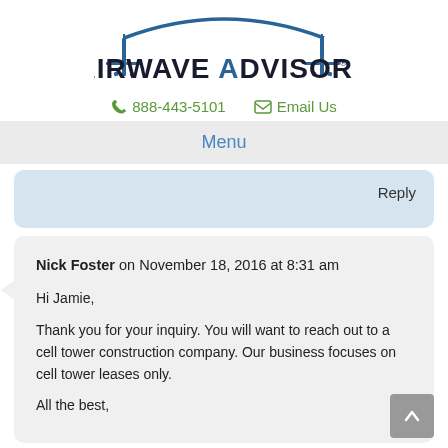[Figure (logo): Airwave Advisors logo with two antenna towers and a blue arc above, text reads AIRWAVE ADVISORS with registered trademark symbol]
📞 888-443-5101   📧 Email Us
Menu
Reply
Nick Foster on November 18, 2016 at 8:31 am

Hi Jamie,

Thank you for your inquiry. You will want to reach out to a cell tower construction company. Our business focuses on cell tower leases only.

All the best,